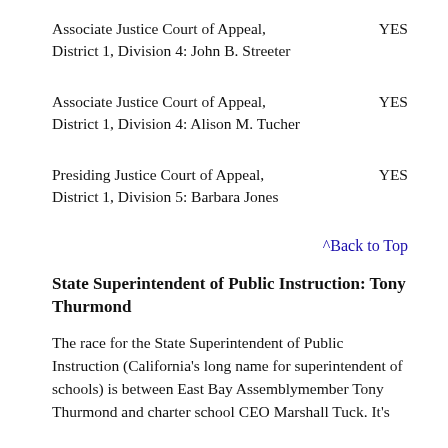Associate Justice Court of Appeal, District 1, Division 4: John B. Streeter	YES
Associate Justice Court of Appeal, District 1, Division 4: Alison M. Tucher	YES
Presiding Justice Court of Appeal, District 1, Division 5: Barbara Jones	YES
^Back to Top
State Superintendent of Public Instruction: Tony Thurmond
The race for the State Superintendent of Public Instruction (California's long name for superintendent of schools) is between East Bay Assemblymember Tony Thurmond and charter school CEO Marshall Tuck. It's